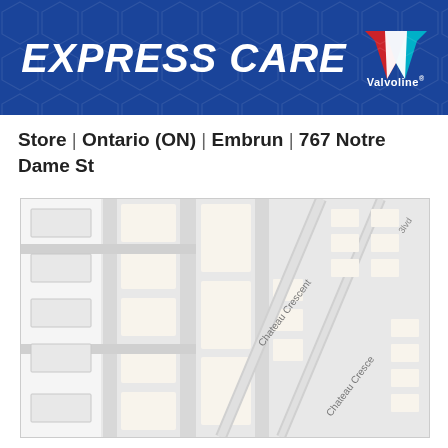[Figure (logo): Express Care by Valvoline logo on blue hexagon-patterned banner]
Store | Ontario (ON) | Embrun | 767 Notre Dame St
[Figure (map): Street map showing Chateau Crescent area in Embrun, Ontario near 767 Notre Dame St]